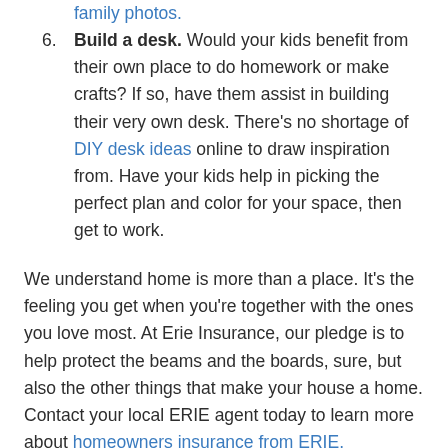family photos. (partial, link at top)
6. Build a desk. Would your kids benefit from their own place to do homework or make crafts? If so, have them assist in building their very own desk. There's no shortage of DIY desk ideas online to draw inspiration from. Have your kids help in picking the perfect plan and color for your space, then get to work.
We understand home is more than a place. It's the feeling you get when you're together with the ones you love most. At Erie Insurance, our pledge is to help protect the beams and the boards, sure, but also the other things that make your house a home. Contact your local ERIE agent today to learn more about homeowners insurance from ERIE.